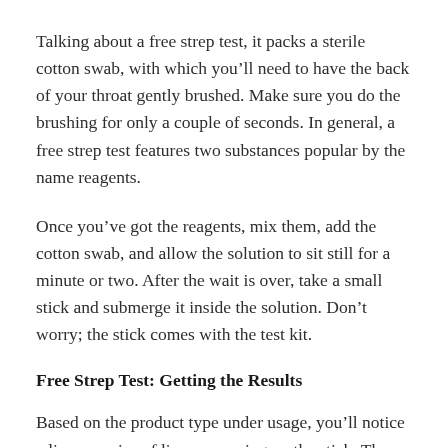Talking about a free strep test, it packs a sterile cotton swab, with which you’ll need to have the back of your throat gently brushed. Make sure you do the brushing for only a couple of seconds. In general, a free strep test features two substances popular by the name reagents.
Once you’ve got the reagents, mix them, add the cotton swab, and allow the solution to sit still for a minute or two. After the wait is over, take a small stick and submerge it inside the solution. Don’t worry; the stick comes with the test kit.
Free Strep Test: Getting the Results
Based on the product type under usage, you’ll notice a line or series of lines appearing on the stick. These lines indicate